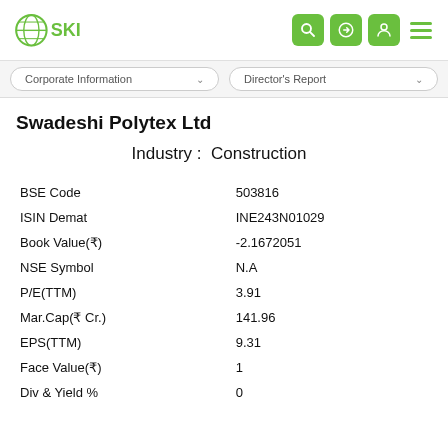[Figure (logo): SKI logo with globe icon and green SKI text]
Corporate Information   Director's Report
Swadeshi Polytex Ltd
Industry :  Construction
| BSE Code | 503816 |
| ISIN Demat | INE243N01029 |
| Book Value(₹) | -2.1672051 |
| NSE Symbol | N.A |
| P/E(TTM) | 3.91 |
| Mar.Cap(₹ Cr.) | 141.96 |
| EPS(TTM) | 9.31 |
| Face Value(₹) | 1 |
| Div & Yield % | 0 |